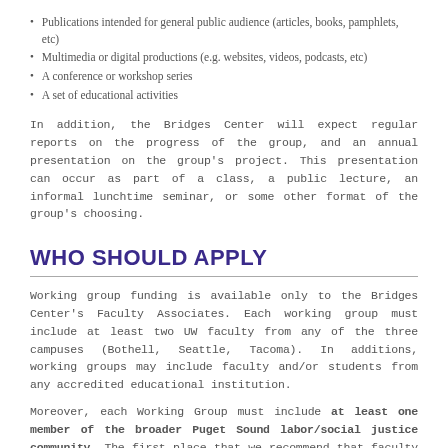Publications intended for general public audience (articles, books, pamphlets, etc)
Multimedia or digital productions (e.g. websites, videos, podcasts, etc)
A conference or workshop series
A set of educational activities
In addition, the Bridges Center will expect regular reports on the progress of the group, and an annual presentation on the group’s project. This presentation can occur as part of a class, a public lecture, an informal lunchtime seminar, or some other format of the group’s choosing.
WHO SHOULD APPLY
Working group funding is available only to the Bridges Center’s Faculty Associates. Each working group must include at least two UW faculty from any of the three campuses (Bothell, Seattle, Tacoma). In additions, working groups may include faculty and/or students from any accredited educational institution.
Moreover, each Working Group must include at least one member of the broader Puget Sound labor/social justice community. The first place that we recommend that faculty look for such collaborations is the Center’s Visiting Committee. This